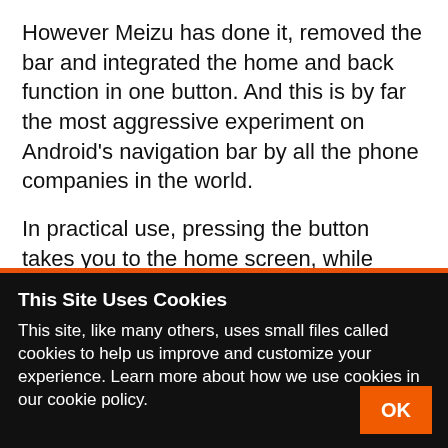However Meizu has done it, removed the bar and integrated the home and back function in one button. And this is by far the most aggressive experiment on Android's navigation bar by all the phone companies in the world.

In practical use, pressing the button takes you to the home screen, while tapping works as the back button. It took me a while to get used to the button at first, but once I did, I found it worked really well,
This Site Uses Cookies
This site, like many others, uses small files called cookies to help us improve and customize your experience. Learn more about how we use cookies in our cookie policy.